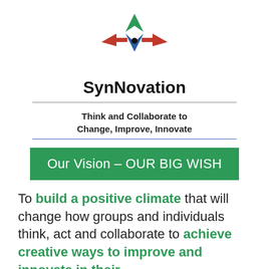[Figure (logo): SynNovation logo: a compass-like shape with red left/right arrows, green top diamond shape, blue bottom V-shape, and a black dot in the center]
SynNovation
Think and Collaborate to Change, Improve, Innovate
Our Vision – OUR BIG WISH
To build a positive climate that will change how groups and individuals think, act and collaborate to achieve creative ways to improve and innovate in their